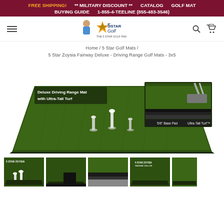FREE SHIPPING! ** MILITARY DISCOUNT ** CATALOG GOLF MAT BUYING GUIDE 1-855-4-TEELINE (855-483-3546)
[Figure (logo): 5 Star Golf logo with person and star emblem]
Home / 5 Star Golf Mats / 5 Star Zoysia Fairway Deluxe - Driving Range Golf Mats - 3x5
[Figure (photo): Green golf driving range mat (3x5) with three tee holders, and inset showing 5/8 Base Pad and Ultra-Tall Turf cross-section with golf club]
[Figure (photo): Thumbnail row of four product images showing the golf mat from different angles]